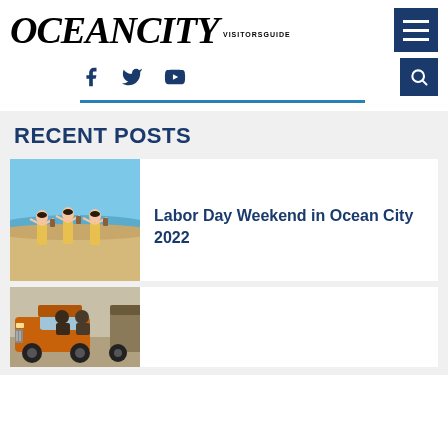Ocean City Visitors Guide
RECENT POSTS
[Figure (photo): Three hula dancers in yellow skirts on a beach with blue ocean water behind them]
Labor Day Weekend in Ocean City 2022
[Figure (photo): Orange jeep with people inside, partial view of a second vehicle, outdoor scene]